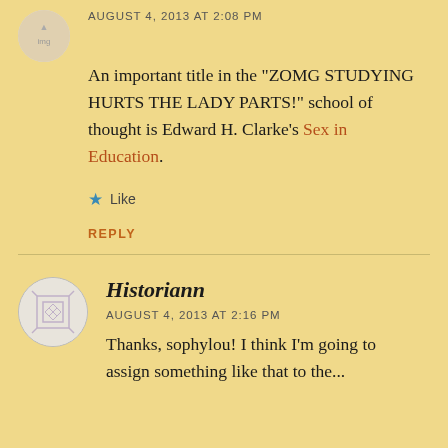AUGUST 4, 2013 AT 2:08 PM
An important title in the “ZOMG STUDYING HURTS THE LADY PARTS!” school of thought is Edward H. Clarke’s Sex in Education.
★ Like
REPLY
Historiann
AUGUST 4, 2013 AT 2:16 PM
Thanks, sophylou! I think I’m going to assign something like that to the...